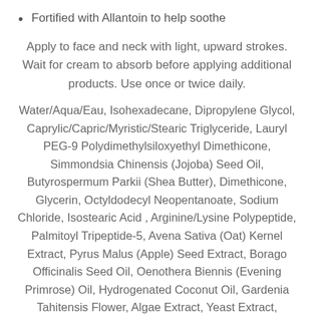Fortified with Allantoin to help soothe
Apply to face and neck with light, upward strokes. Wait for cream to absorb before applying additional products. Use once or twice daily.
Water/Aqua/Eau, Isohexadecane, Dipropylene Glycol, Caprylic/Capric/Myristic/Stearic Triglyceride, Lauryl PEG-9 Polydimethylsiloxyethyl Dimethicone, Simmondsia Chinensis (Jojoba) Seed Oil, Butyrospermum Parkii (Shea Butter), Dimethicone, Glycerin, Octyldodecyl Neopentanoate, Sodium Chloride, Isostearic Acid , Arginine/Lysine Polypeptide, Palmitoyl Tripeptide-5, Avena Sativa (Oat) Kernel Extract, Pyrus Malus (Apple) Seed Extract, Borago Officinalis Seed Oil, Oenothera Biennis (Evening Primrose) Oil, Hydrogenated Coconut Oil, Gardenia Tahitensis Flower, Algae Extract, Yeast Extract, Glucosamine HCl, Tocopheryl Acetate, Sodium